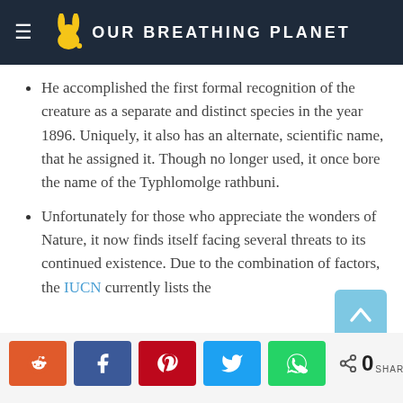OUR BREATHING PLANET
He accomplished the first formal recognition of the creature as a separate and distinct species in the year 1896. Uniquely, it also has an alternate, scientific name, that he assigned it. Though no longer used, it once bore the name of the Typhlomolge rathbuni.
Unfortunately for those who appreciate the wonders of Nature, it now finds itself facing several threats to its continued existence. Due to the combination of factors, the IUCN currently lists the